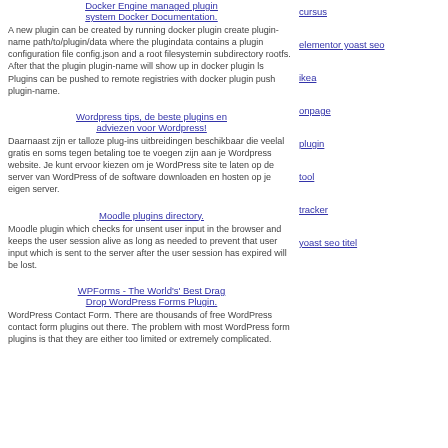Docker Engine managed plugin system Docker Documentation.
A new plugin can be created by running docker plugin create plugin-name path/to/plugin/data where the plugindata contains a plugin configuration file config.json and a root filesystemin subdirectory rootfs. After that the plugin plugin-name will show up in docker plugin ls Plugins can be pushed to remote registries with docker plugin push plugin-name.
cursus
elementor yoast seo
ikea
onpage
plugin
Wordpress tips, de beste plugins en adviezen voor Wordpress!
Daarnaast zijn er talloze plug-ins uitbreidingen beschikbaar die veelal gratis en soms tegen betaling toe te voegen zijn aan je Wordpress website. Je kunt ervoor kiezen om je WordPress site te laten op de server van WordPress of de software downloaden en hosten op je eigen server.
tool
tracker
yoast seo titel
Moodle plugins directory.
Moodle plugin which checks for unsent user input in the browser and keeps the user session alive as long as needed to prevent that user input which is sent to the server after the user session has expired will be lost.
WPForms - The World's' Best Drag Drop WordPress Forms Plugin.
WordPress Contact Form. There are thousands of free WordPress contact form plugins out there. The problem with most WordPress form plugins is that they are either too limited or extremely complicated.